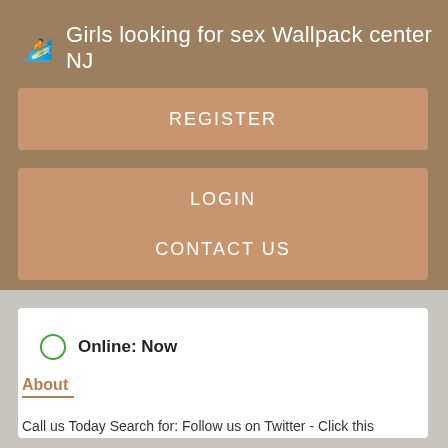Girls looking for sex Wallpack center NJ
REGISTER
LOGIN
CONTACT US
Online: Now
About
Call us Today Search for: Follow us on Twitter - Click this